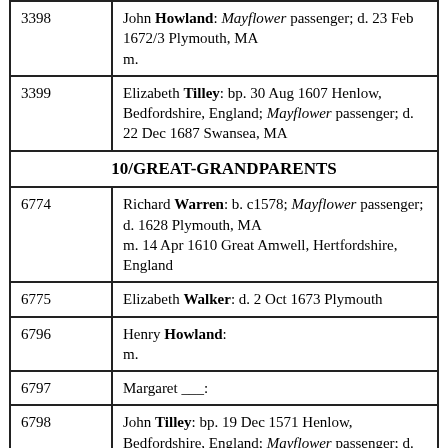| ID | Person |
| --- | --- |
| 3398 | John Howland: Mayflower passenger; d. 23 Feb 1672/3 Plymouth, MA
m. |
| 3399 | Elizabeth Tilley: bp. 30 Aug 1607 Henlow, Bedfordshire, England; Mayflower passenger; d. 22 Dec 1687 Swansea, MA |
| 10/GREAT-GRANDPARENTS |  |
| 6774 | Richard Warren: b. c1578; Mayflower passenger; d. 1628 Plymouth, MA
m. 14 Apr 1610 Great Amwell, Hertfordshire, England |
| 6775 | Elizabeth Walker: d. 2 Oct 1673 Plymouth |
| 6796 | Henry Howland:
m. |
| 6797 | Margaret ___: |
| 6798 | John Tilley: bp. 19 Dec 1571 Henlow, Bedfordshire, England; Mayflower passenger; d. 1620/1
m. 20 Sep 1596 Henlow |
| 6798 | Joan (Hurst) Rogers: Mayflower passenger; d. |